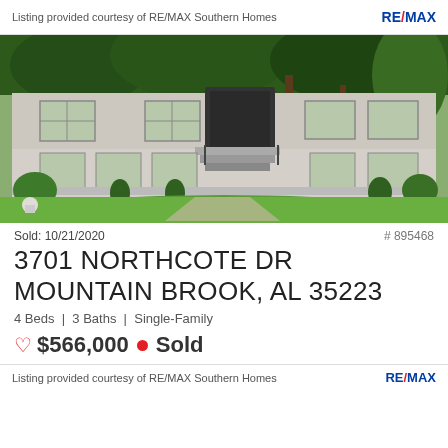Listing provided courtesy of RE/MAX Southern Homes  RE/MAX
[Figure (photo): Exterior photo of a two-story light gray brick house with large front lawn, trees in background, black front door with metal railing staircase, manicured shrubs along the front.]
Sold: 10/21/2020   # 895468
3701 NORTHCOTE DR MOUNTAIN BROOK, AL 35223
4 Beds | 3 Baths | Single-Family
♡ $566,000 ● Sold
Listing provided courtesy of RE/MAX Southern Homes  RE/MAX